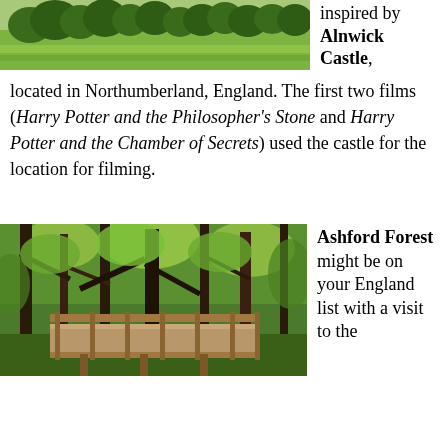[Figure (photo): Aerial or wide-angle photo of a green field landscape, likely near Alnwick Castle, England.]
inspired by Alnwick Castle, located in Northumberland, England. The first two films (Harry Potter and the Philosopher's Stone and Harry Potter and the Chamber of Secrets) used the castle for the location for filming.
[Figure (photo): Photo of a wooden bridge in a lush green forest, likely Ashford Forest in England.]
Ashford Forest might be on your England list with a visit to the